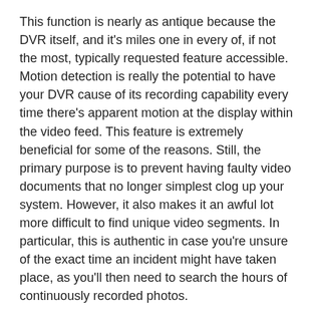This function is nearly as antique because the DVR itself, and it's miles one in every of, if not the most, typically requested feature accessible. Motion detection is really the potential to have your DVR cause of its recording capability every time there's apparent motion at the display within the video feed. This feature is extremely beneficial for some of the reasons. Still, the primary purpose is to prevent having faulty video documents that no longer simplest clog up your system. However, it also makes it an awful lot more difficult to find unique video segments. In particular, this is authentic in case you're unsure of the exact time an incident might have taken place, as you'll then need to search the hours of continuously recorded photos.
Sub-Features that help modify and upload to this most important characteristic frequently encompass movement sensitivity and photo protecting. Motion sensitivity is how a lot of movement is needed before it'll cause a motion-activated recording collection. For example, the sensitivity